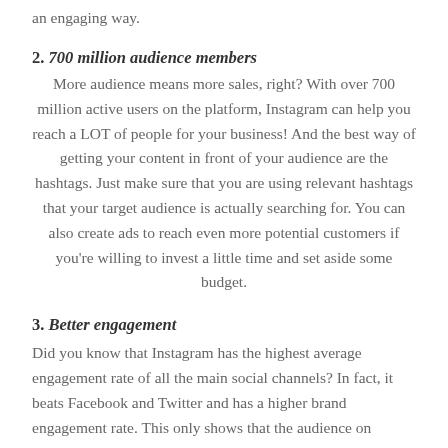an engaging way.
2. 700 million audience members
More audience means more sales, right? With over 700 million active users on the platform, Instagram can help you reach a LOT of people for your business! And the best way of getting your content in front of your audience are the hashtags. Just make sure that you are using relevant hashtags that your target audience is actually searching for. You can also create ads to reach even more potential customers if you're willing to invest a little time and set aside some budget.
3. Better engagement
Did you know that Instagram has the highest average engagement rate of all the main social channels? In fact, it beats Facebook and Twitter and has a higher brand engagement rate. This only shows that the audience on